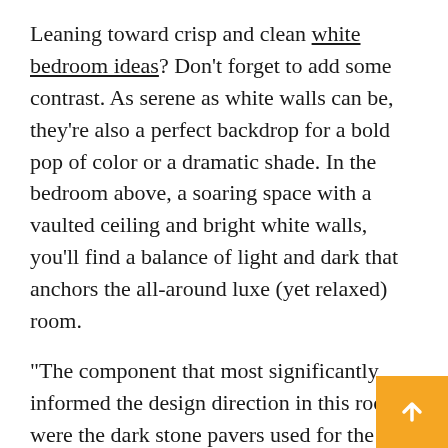Leaning toward crisp and clean white bedroom ideas? Don't forget to add some contrast. As serene as white walls can be, they're also a perfect backdrop for a bold pop of color or a dramatic shade. In the bedroom above, a soaring space with a vaulted ceiling and bright white walls, you'll find a balance of light and dark that anchors the all-around luxe (yet relaxed) room.
“The component that most significantly informed the design direction in this room were the dark stone pavers used for the floor, which was the first thing I chose,” says interior designer Sean Anderson.
“When I started with such a visually heavy floor, I knew the rest of the room needed furnishings and decor that felt light and airy. It’s a juxtaposition